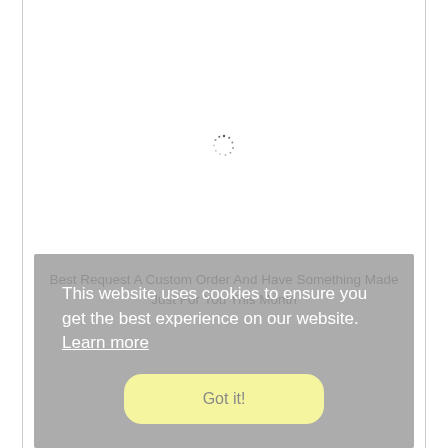[Figure (other): Loading spinner icon, dotted circle in gray, centered in upper portion of page]
Best Request A Custom Order And Have Something Made Just For You This Month
This website uses cookies to ensure you get the best experience on our website. Learn more
Got it!